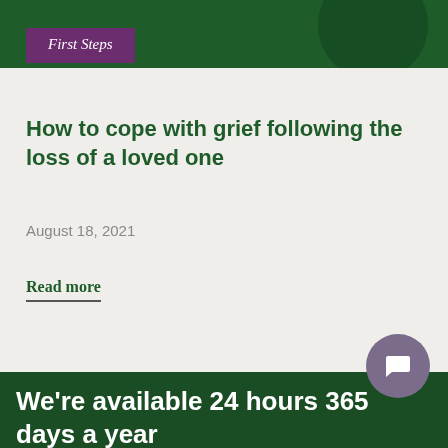[Figure (screenshot): Dark green header bar with decorative circle element]
First Steps
How to cope with grief following the loss of a loved one
August 18, 2021
Read more
We're available 24 hours 365 days a year